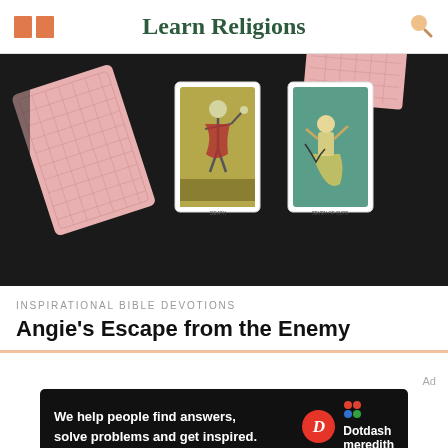Learn Religions
[Figure (photo): Tarot cards laid out on a dark surface: a face-down deck of pink-patterned playing cards, a card showing a dancing skeleton (Death tarot card), and a card showing a woman figure (another tarot card).]
INSPIRATIONAL BIBLE DEVOTIONS
Angie's Escape from the Enemy
We help people find answers, solve problems and get inspired. Dotdash meredith